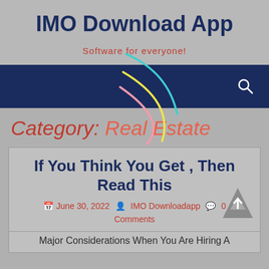IMO Download App
Software for everyone!
[Figure (screenshot): Navigation bar with dark navy background, decorative arc graphics in teal, yellow, and pink, and a search icon on the right]
Category: Real Estate
If You Think You Get , Then Read This
June 30, 2022  IMO Downloadapp  0 Comments
Major Considerations When You Are Hiring A